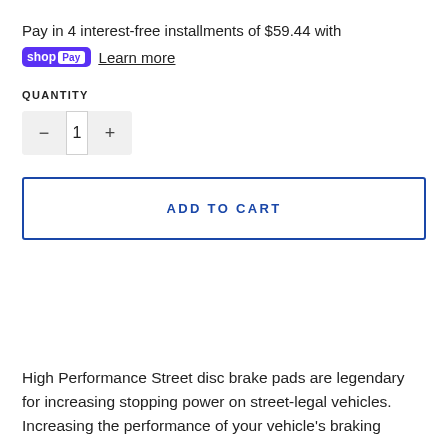Pay in 4 interest-free installments of $59.44 with shop Pay Learn more
QUANTITY
1
ADD TO CART
High Performance Street disc brake pads are legendary for increasing stopping power on street-legal vehicles. Increasing the performance of your vehicle's braking